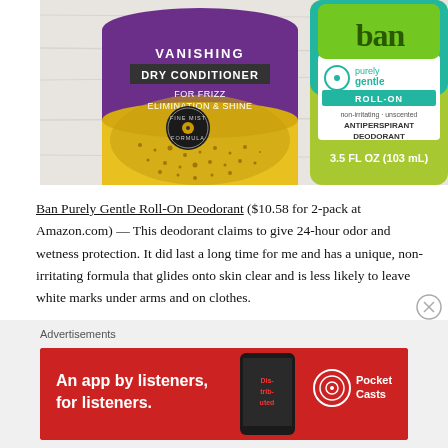[Figure (photo): Two product bottles side by side on a light surface. Left: purple and yellow can labeled 'VANISHING DRY CONDITIONER FOR FRIZZ ELIMINATION & SHINE' with 'FINE MIST FORMULA' badge. Right: green/yellow-green bottle labeled 'Ban purely gentle ROLL-ON non-irritating · unscented ANTIPERSPIRANT DEODORANT 3.5 FL OZ (103 mL)'.]
Ban Purely Gentle Roll-On Deodorant ($10.58 for 2-pack at Amazon.com) — This deodorant claims to give 24-hour odor and wetness protection. It did last a long time for me and has a unique, non-irritating formula that glides onto skin clear and is less likely to leave white marks under arms and on clothes.
Advertisements
[Figure (photo): Red advertisement banner: 'An app by listeners, for listeners.' with Pocket Casts logo and a phone showing app artwork 'Distributed'.]